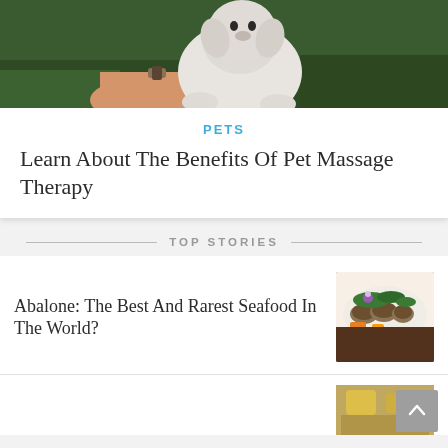[Figure (photo): Hand holding a small white fluffy dog against a green grassy background]
PETS
Learn About The Benefits Of Pet Massage Therapy
TOP STORIES
Abalone: The Best And Rarest Seafood In The World?
[Figure (photo): Plate of abalone seafood garnished with greens and vegetables]
[Figure (photo): Partial view of second story thumbnail]